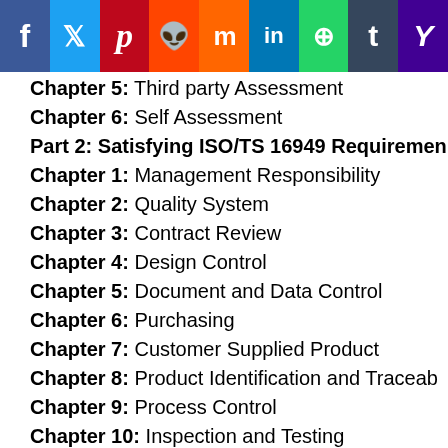[Figure (other): Social media sharing bar with icons for Facebook, Twitter, Pinterest, Reddit, Mix, LinkedIn, WhatsApp, Tumblr, Yahoo]
Chapter 5: Third party Assessment
Chapter 6: Self Assessment
Part 2: Satisfying ISO/TS 16949 Requirements
Chapter 1: Management Responsibility
Chapter 2: Quality System
Chapter 3: Contract Review
Chapter 4: Design Control
Chapter 5: Document and Data Control
Chapter 6: Purchasing
Chapter 7: Customer Supplied Product
Chapter 8: Product Identification and Traceability
Chapter 9: Process Control
Chapter 10: Inspection and Testing
Chapter 11: Inspections, Measuring and Test
Chapter 12: Inspection and Test status
Chapter 13: Control of Nonconforming product